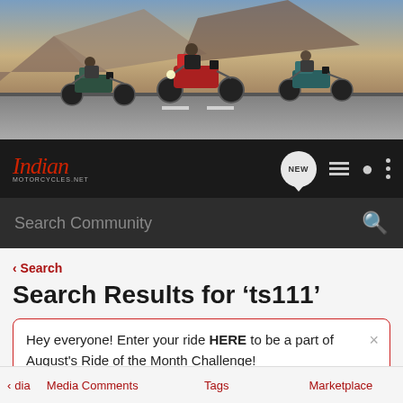[Figure (photo): Hero banner image of Indian motorcycles riding on a mountain road, three motorcycles visible]
[Figure (logo): Indian Motorcycles.net logo in red italic script on dark navbar with navigation icons including NEW badge, list, user, and menu icons]
Search Community
< Search
Search Results for ‘ts111’
Hey everyone! Enter your ride HERE to be a part of August's Ride of the Month Challenge!
< dia   Media Comments   Tags   Marketplace